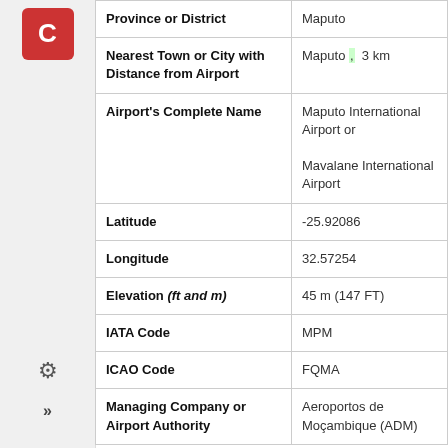| Field | Value |
| --- | --- |
| Province or District | Maputo |
| Nearest Town or City with Distance from Airport | Maputo , 3 km |
| Airport's Complete Name | Maputo International Airport or
Mavalane International Airport |
| Latitude | -25.92086 |
| Longitude | 32.57254 |
| Elevation (ft and m) | 45 m (147 FT) |
| IATA Code | MPM |
| ICAO Code | FQMA |
| Managing Company or Airport Authority | Aeroportos de Moçambique (ADM) |